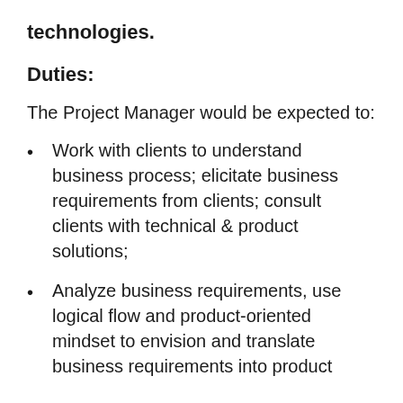technologies.
Duties:
The Project Manager would be expected to:
Work with clients to understand business process; elicitate business requirements from clients; consult clients with technical & product solutions;
Analyze business requirements, use logical flow and product-oriented mindset to envision and translate business requirements into product